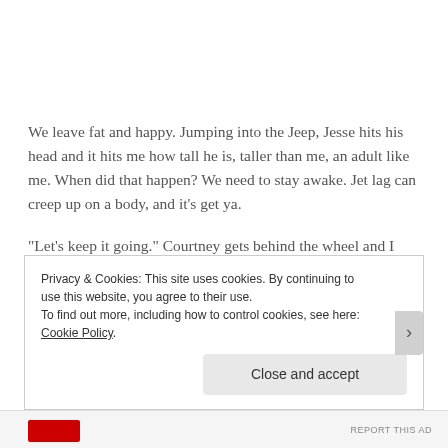We leave fat and happy. Jumping into the Jeep, Jesse hits his head and it hits me how tall he is, taller than me, an adult like me. When did that happen? We need to stay awake. Jet lag can creep up on a body, and it's get ya.
“Let’s keep it going.” Courtney gets behind the wheel and I don’t argue because I want to stare out the window at nature until my soul expands to harmony with the palm
Privacy & Cookies: This site uses cookies. By continuing to use this website, you agree to their use.
To find out more, including how to control cookies, see here: Cookie Policy
[Close and accept]